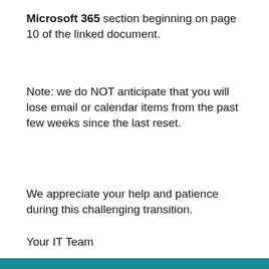Microsoft 365 section beginning on page 10 of the linked document.
Note: we do NOT anticipate that you will lose email or calendar items from the past few weeks since the last reset.
We appreciate your help and patience during this challenging transition.
Your IT Team